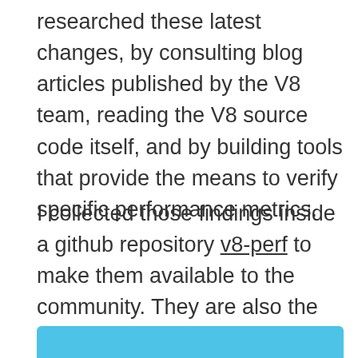researched these latest changes, by consulting blog articles published by the V8 team, reading the V8 source code itself, and by building tools that provide the means to verify specific performance metrics.
I collected those findings inside a github repository v8-perf to make them available to the community. They are also the basis for a talk I'll give at NodeSummit this week and a series of blog posts, starting with this one.
[Figure (other): Blue rounded rectangle box, partially visible at the bottom of the page]